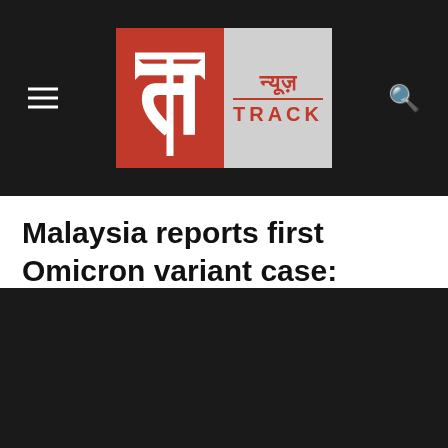News Track
Malaysia reports first Omicron variant case: Health Minister
By P C Thomas   Dec 03 2021 12:46 PM   News